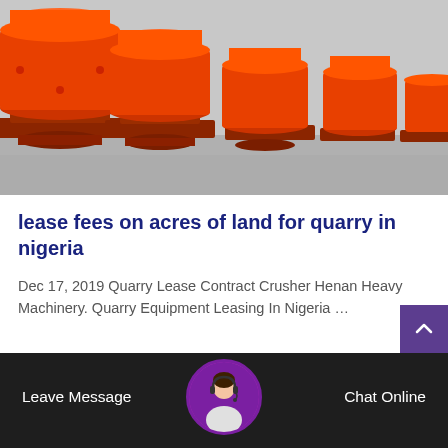[Figure (photo): Orange industrial crusher/grinding machinery in a factory or warehouse setting. Multiple large orange cylindrical cone crusher machines on red metal frames arranged in a row on a concrete floor.]
lease fees on acres of land for quarry in nigeria
Dec 17, 2019 Quarry Lease Contract Crusher Henan Heavy Machinery. Quarry Equipment Leasing In Nigeria …
Leave Message
Chat Online